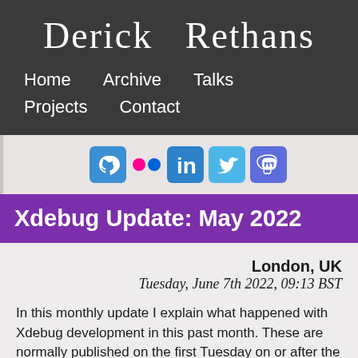Derick Rethans
Home  Archive  Talks  Projects  Contact
[Figure (other): Social media icons: GitHub, Flickr, LinkedIn, Twitter, Mastodon]
Xdebug Update: May 2022
London, UK
Tuesday, June 7th 2022, 09:13 BST
In this monthly update I explain what happened with Xdebug development in this past month. These are normally published on the first Tuesday on or after the